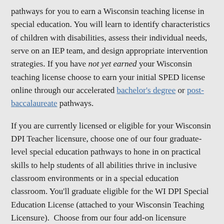pathways for you to earn a Wisconsin teaching license in special education. You will learn to identify characteristics of children with disabilities, assess their individual needs, serve on an IEP team, and design appropriate intervention strategies. If you have not yet earned your Wisconsin teaching license choose to earn your initial SPED license online through our accelerated bachelor's degree or post-baccalaureate pathways.
If you are currently licensed or eligible for your Wisconsin DPI Teacher licensure, choose one of our four graduate-level special education pathways to hone in on practical skills to help students of all abilities thrive in inclusive classroom environments or in a special education classroom. You'll graduate eligible for the WI DPI Special Education License (attached to your Wisconsin Teaching Licensure). Choose from our four add-on licensure options and read more about each licensure pathway on the corresponding information tab: